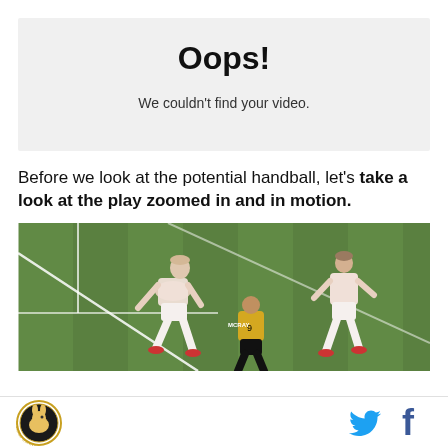Oops!
We couldn't find your video.
Before we look at the potential handball, let's take a look at the play zoomed in and in motion.
[Figure (photo): Soccer players on a green field, two players in white and one in black/yellow jersey, captured during a match play]
Logo and social media icons (Twitter, Facebook)